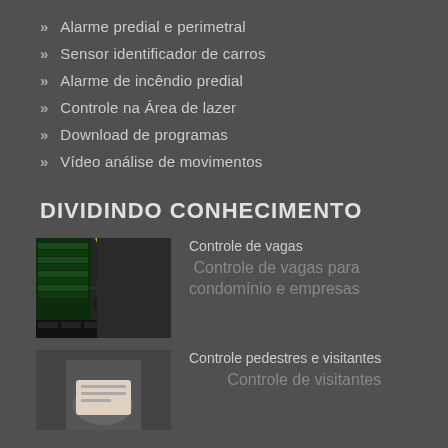» Alarme predial e perimetral
» Sensor identificador de carros
» Alarme de incêndio predial
» Controle na Área de lazer
» Download de programas
» Vídeo análise de movimentos
DIVIDINDO CONHECIMENTO
[Figure (screenshot): Aerial/overhead view of parking area with green data table overlay on left side showing parking slot data]
Controle de vagas
Controle de vagas para condomínio e empresas
[Figure (photo): Photo of a person holding a document or card, suggesting visitor/pedestrian control]
Controle pedestres e visitantes
Controle de visitantes